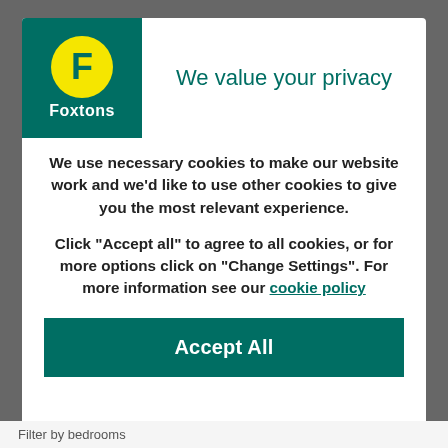[Figure (logo): Foxtons logo: green background with yellow circle containing F letter and Foxtons text below]
We value your privacy
We use necessary cookies to make our website work and we'd like to use other cookies to give you the most relevant experience.
Click “Accept all” to agree to all cookies, or for more options click on “Change Settings”. For more information see our cookie policy
Accept All
Filter by bedrooms